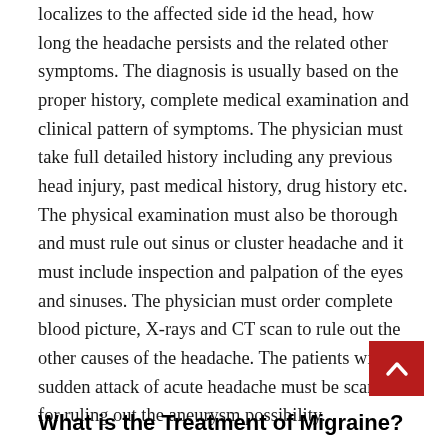localizes to the affected side id the head, how long the headache persists and the related other symptoms. The diagnosis is usually based on the proper history, complete medical examination and clinical pattern of symptoms. The physician must take full detailed history including any previous head injury, past medical history, drug history etc. The physical examination must also be thorough and must rule out sinus or cluster headache and it must include inspection and palpation of the eyes and sinuses. The physician must order complete blood picture, X-rays and CT scan to rule out the other causes of the headache. The patients with sudden attack of acute headache must be scanned for ruling out the aneurysm possibility.
What is the Treatment of Migraine?